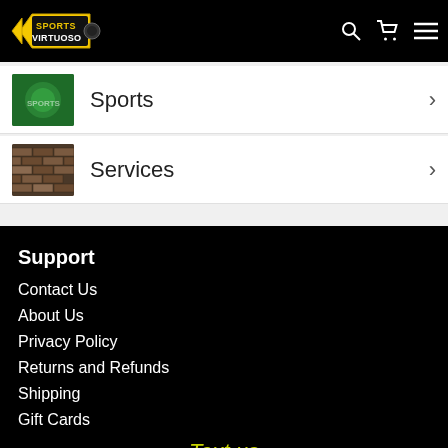Sports Virtuoso
Sports
Services
Support
Contact Us
About Us
Privacy Policy
Returns and Refunds
Shipping
Gift Cards
Text us